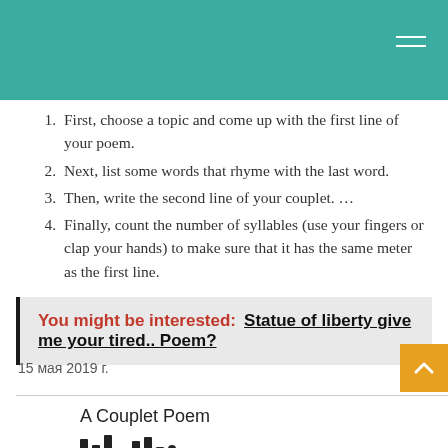First, choose a topic and come up with the first line of your poem.
Next, list some words that rhyme with the last word.
Then, write the second line of your couplet. …
Finally, count the number of syllables (use your fingers or clap your hands) to make sure that it has the same meter as the first line.
You might be interested:  Statue of liberty give me your tired.. Poem?
15 мая 2019 г.
A Couplet Poem